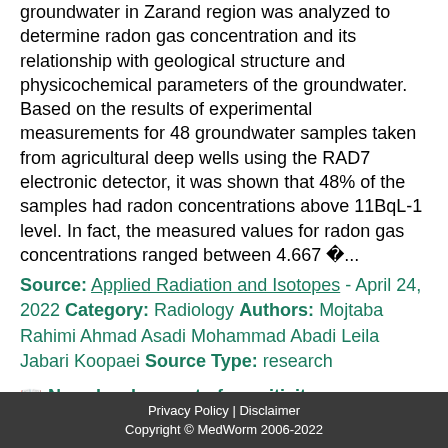groundwater in Zarand region was analyzed to determine radon gas concentration and its relationship with geological structure and physicochemical parameters of the groundwater. Based on the results of experimental measurements for 48 groundwater samples taken from agricultural deep wells using the RAD7 electronic detector, it was shown that 48% of the samples had radon concentrations above 11BqL-1 level. In fact, the measured values for radon gas concentrations ranged between 4.667 �...
Source: Applied Radiation and Isotopes - April 24, 2022 Category: Radiology Authors: Mojtaba Rahimi Ahmad Asadi Mohammad Abadi Leila Jabari Koopaei Source Type: research
New development of sensitivity improvement for compensated neutron...
Privacy Policy | Disclaimer
Copyright © MedWorm 2006-2022